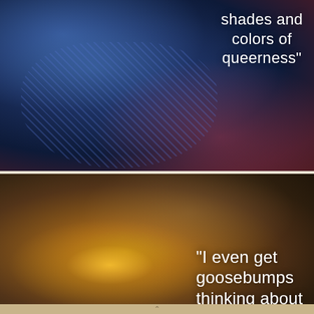[Figure (photo): Person wearing a sparkly/sequined blue mesh top in a dark nightclub setting with blue and red/pink ambient lighting, crowd visible in background]
shades and colors of queerness"
[Figure (photo): Person with beard and dark hair, head tilted back with eyes closed, warm golden backlight creating a bright lens flare effect, indoor setting]
"I even get goosebumps thinking about